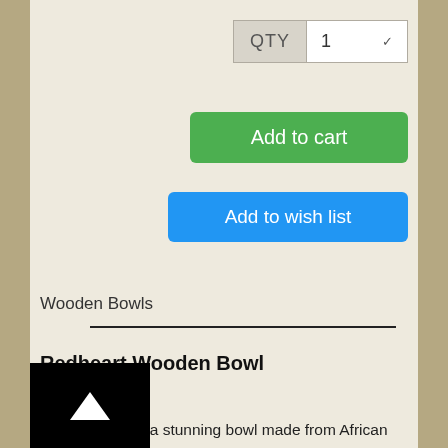[Figure (screenshot): QTY selector with label and dropdown showing value 1]
[Figure (screenshot): Add to cart green button]
[Figure (screenshot): Add to wish list blue button]
Wooden Bowls
Redheart Wooden Bowl
WBowl 5
We are offering a stunning bowl made from African Redheart. It is a beautiful exotic wood with a rich reddish hue and a lovely grain in various widths, in lines and swirls.The bowl stands on a 2 inch base, and is 3 inches in diameter at the top.  It stands 1 3/4 inches high.   A lovely bowl which can stand alone as artwork or be used as a container.